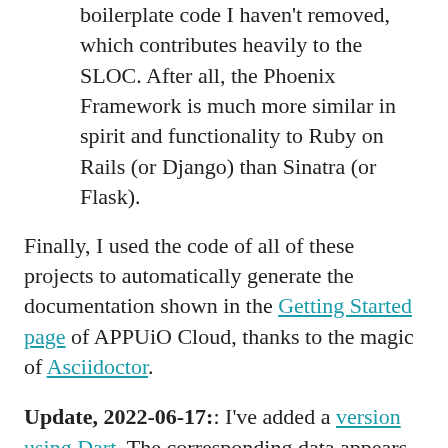boilerplate code I haven't removed, which contributes heavily to the SLOC. After all, the Phoenix Framework is much more similar in spirit and functionality to Ruby on Rails (or Django) than Sinatra (or Flask).
Finally, I used the code of all of these projects to automatically generate the documentation shown in the Getting Started page of APPUiO Cloud, thanks to the magic of Asciidoctor.
Update, 2022-06-17:: I've added a version using Dart. The corresponding data appears in the table above. It gets a very promising 4th place in the table, thanks to a very fast build process, a small final container size, and very low runtime memory requirements. Unfortunately the ecosystem is not